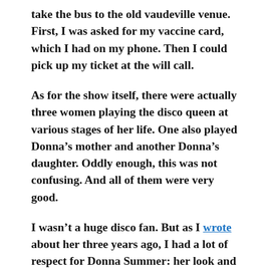take the bus to the old vaudeville venue. First, I was asked for my vaccine card, which I had on my phone. Then I could pick up my ticket at the will call.
As for the show itself, there were actually three women playing the disco queen at various stages of her life. One also played Donna’s mother and another Donna’s daughter. Oddly enough, this was not confusing. And all of them were very good.
I wasn’t a huge disco fan. But as I wrote about her three years ago, I had a lot of respect for Donna Summer: her look and especially her voice.